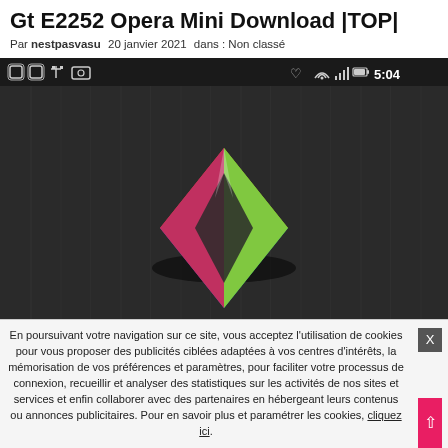Gt E2252 Opera Mini Download |TOP|
Par nestpasvasu   20 janvier 2021   dans : Non classé
[Figure (screenshot): Android phone screenshot showing Opera Mini or similar app icon (colorful diamond/kite shape with red, orange, yellow, green, blue, purple facets) on a dark grey textured background with status bar showing icons and time 5:04]
En poursuivant votre navigation sur ce site, vous acceptez l'utilisation de cookies pour vous proposer des publicités ciblées adaptées à vos centres d'intérêts, la mémorisation de vos préférences et paramètres, pour faciliter votre processus de connexion, recueillir et analyser des statistiques sur les activités de nos sites et services et enfin collaborer avec des partenaires en hébergeant leurs contenus ou annonces publicitaires. Pour en savoir plus et paramétrer les cookies, cliquez ici.